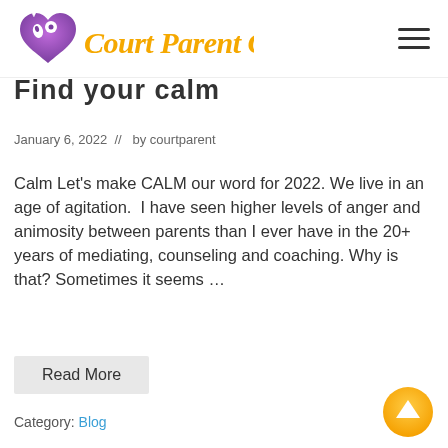Court Parent Class
Find your calm
January 6, 2022  //  by courtparent
Calm Let's make CALM our word for 2022. We live in an age of agitation.  I have seen higher levels of anger and animosity between parents than I ever have in the 20+ years of mediating, counseling and coaching. Why is that? Sometimes it seems …
Read More
Category: Blog